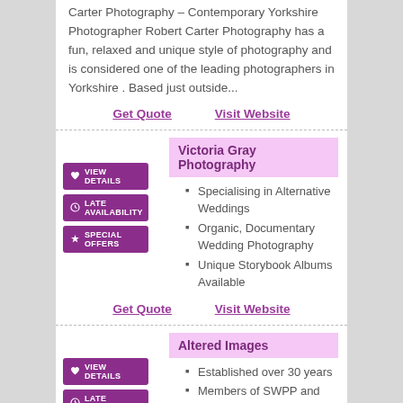Carter Photography – Contemporary Yorkshire Photographer Robert Carter Photography has a fun, relaxed and unique style of photography and is considered one of the leading photographers in Yorkshire . Based just outside...
Get Quote   Visit Website
Victoria Gray Photography
Specialising in Alternative Weddings
Organic, Documentary Wedding Photography
Unique Storybook Albums Available
Get Quote   Visit Website
Altered Images
Established over 30 years
Members of SWPP and MPA
Highly Commended by the Wedding Industry